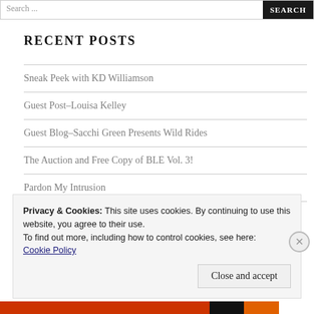Search ...  SEARCH
RECENT POSTS
Sneak Peek with KD Williamson
Guest Post–Louisa Kelley
Guest Blog–Sacchi Green Presents Wild Rides
The Auction and Free Copy of BLE Vol. 3!
Pardon My Intrusion
Privacy & Cookies: This site uses cookies. By continuing to use this website, you agree to their use.
To find out more, including how to control cookies, see here: Cookie Policy
Close and accept